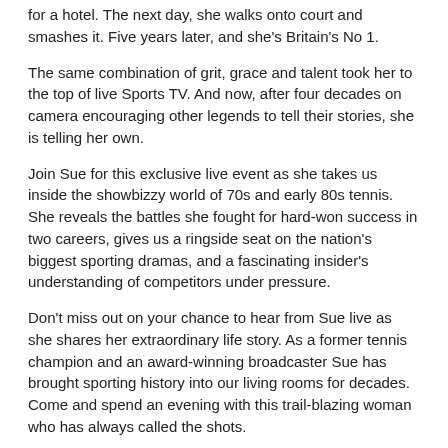for a hotel. The next day, she walks onto court and smashes it. Five years later, and she's Britain's No 1.
The same combination of grit, grace and talent took her to the top of live Sports TV. And now, after four decades on camera encouraging other legends to tell their stories, she is telling her own.
Join Sue for this exclusive live event as she takes us inside the showbizzy world of 70s and early 80s tennis. She reveals the battles she fought for hard-won success in two careers, gives us a ringside seat on the nation's biggest sporting dramas, and a fascinating insider's understanding of competitors under pressure.
Don't miss out on your chance to hear from Sue live as she shares her extraordinary life story. As a former tennis champion and an award-winning broadcaster Sue has brought sporting history into our living rooms for decades. Come and spend an evening with this trail-blazing woman who has always called the shots.
There will be a chance to ask Sue your own questions during an audience Q&A section.
Every pair of tickets purchased includes a signed copy of Calling the Shots (RRP £20).